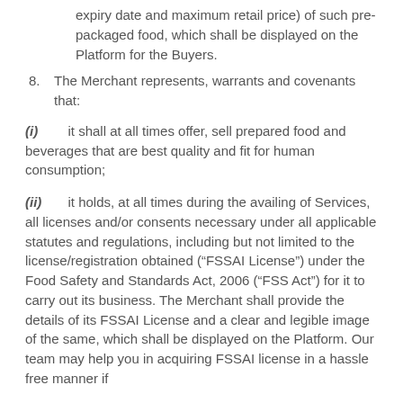expiry date and maximum retail price) of such pre-packaged food, which shall be displayed on the Platform for the Buyers.
8. The Merchant represents, warrants and covenants that:
(i) it shall at all times offer, sell prepared food and beverages that are best quality and fit for human consumption;
(ii) it holds, at all times during the availing of Services, all licenses and/or consents necessary under all applicable statutes and regulations, including but not limited to the license/registration obtained (“FSSAI License”) under the Food Safety and Standards Act, 2006 (“FSS Act”) for it to carry out its business. The Merchant shall provide the details of its FSSAI License and a clear and legible image of the same, which shall be displayed on the Platform. Our team may help you in acquiring FSSAI license in a hassle free manner if